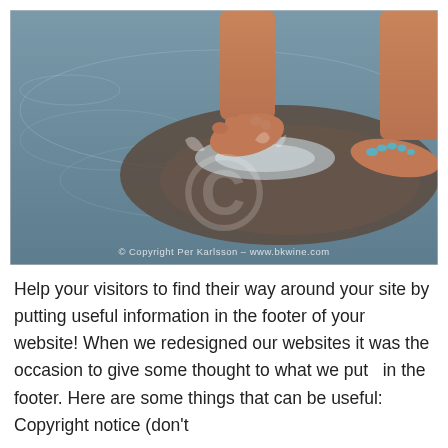[Figure (photo): A photograph of bare feet stepping in shallow water on a wet sandy beach. The water ripples around the feet. A large watermark copyright symbol is visible in the lower center. Text overlay reads: © Copyright Per Karlsson - www.bkwine.com]
Help your visitors to find their way around your site by putting useful information in the footer of your website! When we redesigned our websites it was the occasion to give some thought to what we put  in the footer. Here are some things that can be useful: Copyright notice (don't